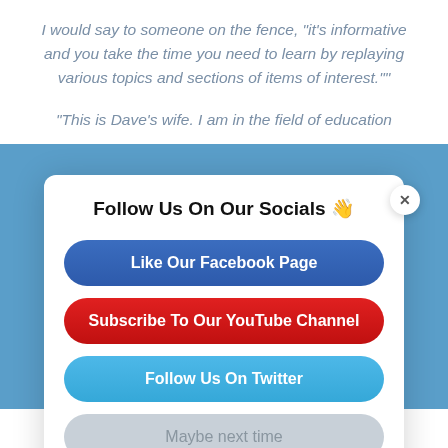I would say to someone on the fence, "it's informative and you take the time you need to learn by replaying various topics and sections of items of interest.""
"This is Dave's wife. I am in the field of education
Follow Us On Our Socials 👋
Like Our Facebook Page
Subscribe To Our YouTube Channel
Follow Us On Twitter
Maybe next time
and guidance has helped me very very well I